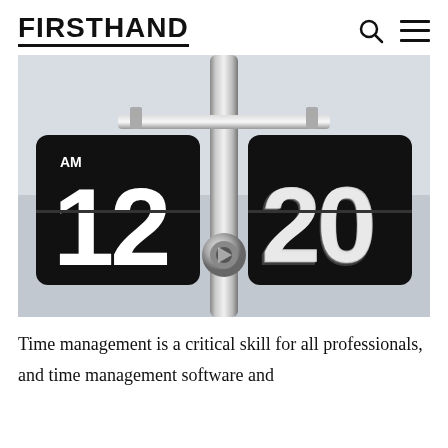FIRSTHAND
[Figure (photo): A flip clock showing 12:20 AM, black panels with white numbers, chrome stand, on a light gray background]
Time management is a critical skill for all professionals, and time management software and